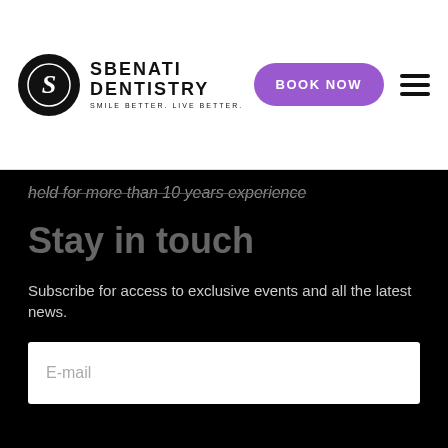SBENATI DENTISTRY — SMILE BETTER. LIVE BETTER. | BOOK NOW
held for more than 10 years experience
Stay in touch
Subscribe for access to exclusive events and all the latest news.
E-mail
Questions?
PHONE
(519) 474-0220